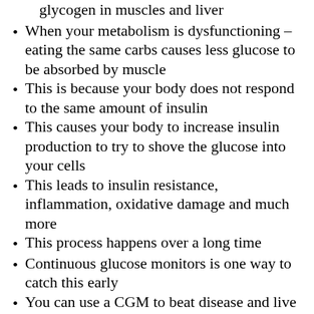glycogen in muscles and liver
When your metabolism is dysfunctioning – eating the same carbs causes less glucose to be absorbed by muscle
This is because your body does not respond to the same amount of insulin
This causes your body to increase insulin production to try to shove the glucose into your cells
This leads to insulin resistance, inflammation, oxidative damage and much more
This process happens over a long time
Continuous glucose monitors is one way to catch this early
You can use a CGM to beat disease and live healthier for longer